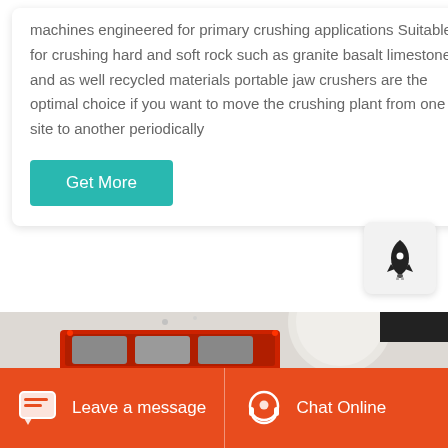machines engineered for primary crushing applications Suitable for crushing hard and soft rock such as granite basalt limestone and as well recycled materials portable jaw crushers are the optimal choice if you want to move the crushing plant from one site to another periodically
[Figure (screenshot): Get More button - teal/green colored rectangular button with white text]
[Figure (illustration): Rocket icon widget on light gray rounded square background]
[Figure (photo): Industrial jaw crusher machine - red and white colored crushing equipment]
Leave a message
Chat Online